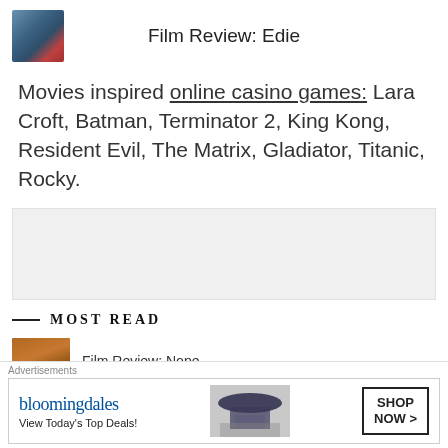Film Review: Edie
Movies inspired online casino games: Lara Croft, Batman, Terminator 2, King Kong, Resident Evil, The Matrix, Gladiator, Titanic, Rocky.
MOST READ
[Figure (photo): Thumbnail for Film Review: Nope - person in orange outdoors]
Film Review: Nope
[Figure (photo): Thumbnail partially visible for another Film Review: Bernadette]
Film Review: Bernadette
[Figure (other): Bloomingdales advertisement banner: View Today's Top Deals! SHOP NOW >]